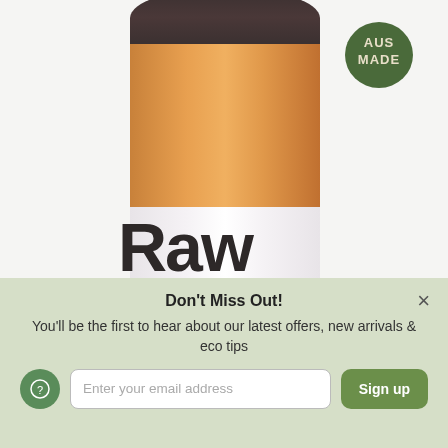[Figure (photo): A cylindrical kraft paper container with a dark brown/black cap, orange-brown body, and white label area showing 'Raw Protein' text. An 'AUS MADE' green badge appears in the top right corner.]
Don't Miss Out!
You'll be the first to hear about our latest offers, new arrivals & eco tips
Enter your email address
Sign up